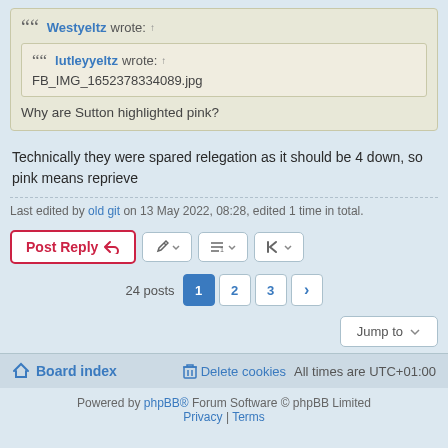Westyeltz wrote: ↑ [quote] lutleyyeltz wrote: ↑ FB_IMG_1652378334089.jpg [/quote] Why are Sutton highlighted pink?
Technically they were spared relegation as it should be 4 down, so pink means reprieve
Last edited by old git on 13 May 2022, 08:28, edited 1 time in total.
24 posts · 1 · 2 · 3 · >
Board index | Delete cookies | All times are UTC+01:00
Powered by phpBB® Forum Software © phpBB Limited
Privacy | Terms